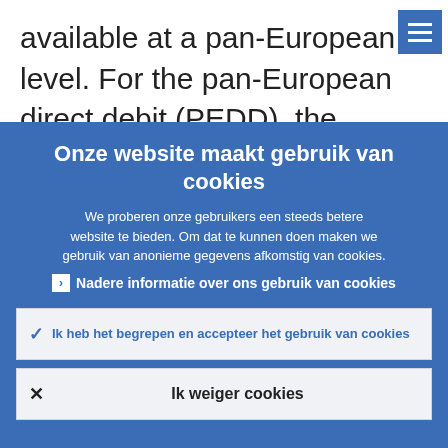available at a pan-European level. For the pan-European direct debit (PEDD), the challenge facing the EPC is to make up fo...
Onze website maakt gebruik van cookies
We proberen onze gebruikers een steeds betere website te bieden. Om dat te kunnen doen maken we gebruik van anonieme gegevens afkomstig van cookies.
Nadere informatie over ons gebruik van cookies
Ik heb het begrepen en accepteer het gebruik van cookies
Ik weiger cookies